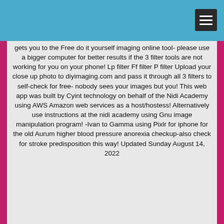gets you to the Free do it yourself imaging online tool- please use a bigger computer for better results if the 3 filter tools are not working for you on your phone! Lp filter Ff filter P filter Upload your close up photo to diyimaging.com and pass it through all 3 filters to self-check for free- nobody sees your images but you! This web app was built by Cyint technology on behalf of the Nidi Academy using AWS Amazon web services as a host/hostess! Alternatively use instructions at the nidi academy using Gnu image manipulation program! -Ivan to Gamma using Pixlr for iphone for the old Aurum higher blood pressure anorexia checkup-also check for stroke predisposition this way! Updated Sunday August 14, 2022